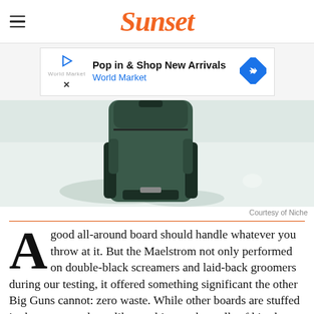Sunset
[Figure (screenshot): Advertisement banner: 'Pop in & Shop New Arrivals – World Market' with play button icon and blue diamond arrow icon]
[Figure (photo): Close-up photo of a dark green backpack sitting in snow, viewed from above at an angle]
Courtesy of Niche
A good all-around board should handle whatever you throw at it. But the Maelstrom not only performed on double-black screamers and laid-back groomers during our testing, it offered something significant the other Big Guns cannot: zero waste. While other boards are stuffed in the garage or hung like trophies on the walls of kitschy shot-ski dive bars, this